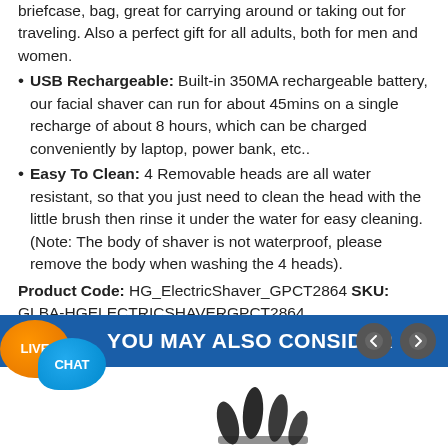briefcase, bag, great for carrying around or taking out for traveling. Also a perfect gift for all adults, both for men and women.
USB Rechargeable: Built-in 350MA rechargeable battery, our facial shaver can run for about 45mins on a single recharge of about 8 hours, which can be charged conveniently by laptop, power bank, etc..
Easy To Clean: 4 Removable heads are all water resistant, so that you just need to clean the head with the little brush then rinse it under the water for easy cleaning. (Note: The body of shaver is not waterproof, please remove the body when washing the 4 heads).
Product Code: HG_ElectricShaver_GPCT2864 SKU: GLBA-HGELECTRICSHAVERGPCT2864
YOU MAY ALSO CONSIDER
[Figure (photo): Product image of electric shaver heads/attachments, bottom of page]